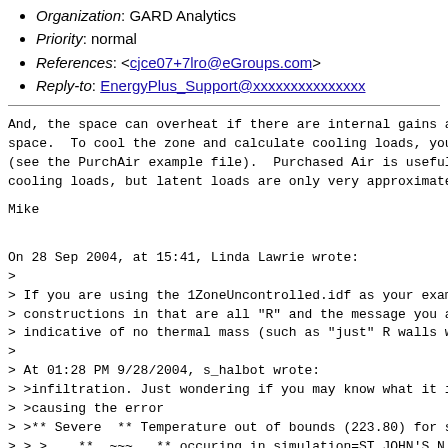Organization: GARD Analytics
Priority: normal
References: <cjce07+7lro@eGroups.com>
Reply-to: EnergyPlus_Support@xxxxxxxxxxxxxxx
And, the space can overheat if there are internal gains a space.  To cool the zone and calculate cooling loads, you (see the PurchAir example file).  Purchased Air is useful cooling loads, but latent loads are only very approximate
Mike
On 28 Sep 2004, at 15:41, Linda Lawrie wrote:
>
> If you are using the 1ZoneUncontrolled.idf as your exam
> constructions in that are all "R" and the message you a
> indicative of no thermal mass (such as "just" R walls w
>
> At 01:28 PM 9/28/2004, s_halbot wrote:
> >infiltration. Just wondering if you may know what it i
> >causing the error
> >** Severe  ** Temperature out of bounds (223.80) for s
> > >    **  ~~~   ** occuring in simulation=ST JOHN'S N
> > > 14521 WMO#=718010 at 01/01 00:45.
> >I've checked and rechecked the materials properties as
> >script suggested, and they appear fine. Any further s